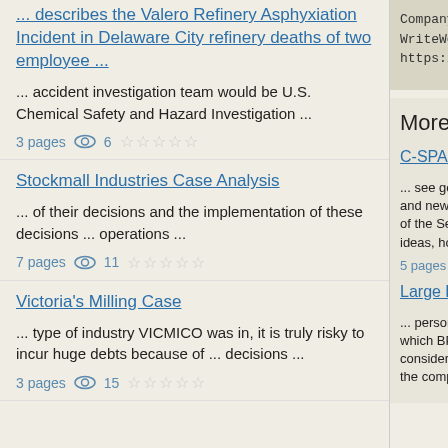... describes the Valero Refinery Asphyxiation Incident in Delaware City refinery deaths of two employee ...
... accident investigation team would be U.S. Chemical Safety and Hazard Investigation ...
3 pages   6   ☆☆☆☆☆
Stockmall Industries Case Analysis
... of their decisions and the implementation of these decisions ... operations ...
7 pages   11   ☆☆☆☆☆
Victoria's Milling Case
... type of industry VICMICO was in, it is truly risky to incur huge debts because of ... decisions ...
3 pages   15   ☆☆☆☆☆
Company case
WriteWork.co
https://www.
More Cases
C-SPAN, the
... see governm and news anc of the Senate ideas, howeve
5 pages   1
Large British
... personal ca which BP ente considerably i the computing